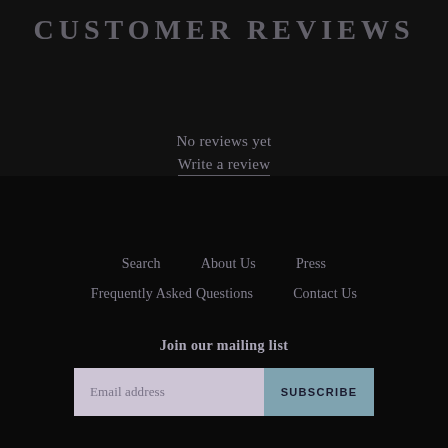← BACK TO CLOTHING
CUSTOMER REVIEWS
No reviews yet
Write a review
Search
About Us
Press
Frequently Asked Questions
Contact Us
Join our mailing list
Email address
SUBSCRIBE